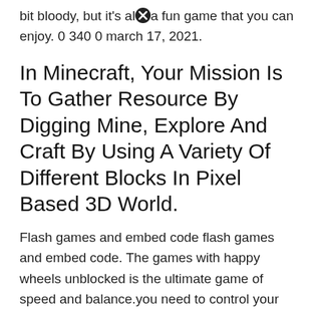bit bloody, but it's also a fun game that you can enjoy. 0 340 0 march 17, 2021.
In Minecraft, Your Mission Is To Gather Resource By Digging Mine, Explore And Craft By Using A Variety Of Different Blocks In Pixel Based 3D World.
Flash games and embed code flash games and embed code. The games with happy wheels unblocked is the ultimate game of speed and balance.you need to control your balance and go as fast as you can while trying to stay alive of course. Happy wheels full version unblocked